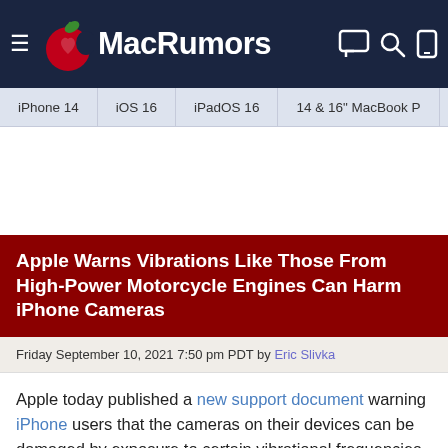MacRumors
iPhone 14
iOS 16
iPadOS 16
14 & 16" MacBook P
Apple Warns Vibrations Like Those From High-Power Motorcycle Engines Can Harm iPhone Cameras
Friday September 10, 2021 7:50 pm PDT by Eric Slivka
Apple today published a new support document warning iPhone users that the cameras on their devices can be damaged by exposure to certain vibrational frequencies such as those generated by high-power motorcycle engines.